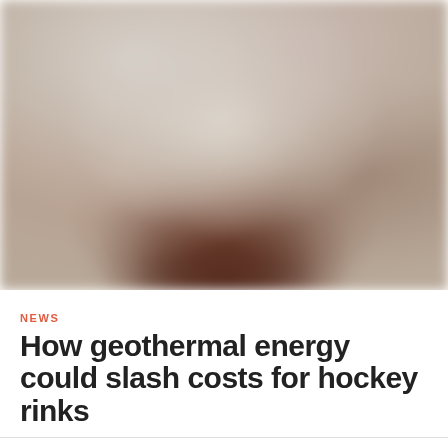[Figure (photo): Blurred photograph of what appears to be a hockey rink interior, with warm brown and cream tones, heavily out of focus.]
NEWS
How geothermal energy could slash costs for hockey rinks
SHARE